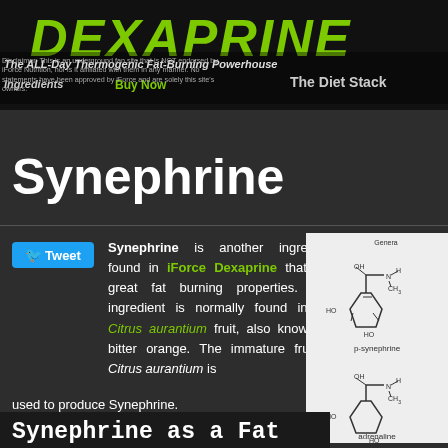DEXAPRINE
Disclaimer: This is an underground fan site that is NOT endorsed by iForce Nutrition, nor is it affiliated with them in any manner. No statements have been approved by iForce and are solely this site's owners.
The ALL-Day Thermogenic Fat-Burning Powerhouse | Ingredients | Buy Now | The Diet Stack
Synephrine
Synephrine is another ingredient found in iForce Dexaprine that has great fat burning properties. This ingredient is normally found in the Citrus aurantium fruit, also known as bitter orange. The immature fruit of Citrus aurantium is used to produce Synephrine.
[Figure (schematic): Chemical structure diagrams showing p-synephrine and adrenaline molecular structures]
Synephrine as a Fat Burner